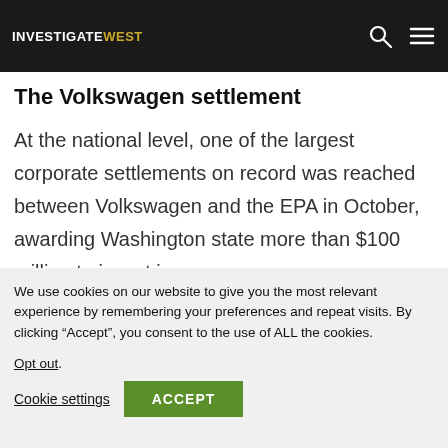INVESTIGATEWEST
holders are likely to target for change.
The Volkswagen settlement
At the national level, one of the largest corporate settlements on record was reached between Volkswagen and the EPA in October, awarding Washington state more than $100 million to invest in
We use cookies on our website to give you the most relevant experience by remembering your preferences and repeat visits. By clicking “Accept”, you consent to the use of ALL the cookies. Opt out.
Cookie settings
ACCEPT